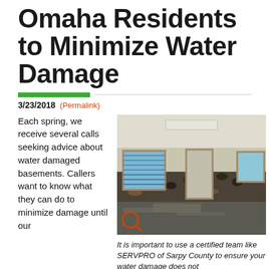Omaha Residents to Minimize Water Damage
3/23/2018 (Permalink)
Each spring, we receive several calls seeking advice about water damaged basements. Callers want to know what they can do to minimize damage until our
[Figure (photo): Interior of a water-damaged room with mold-covered walls, wet flooring, and multiple doorways visible. A search/zoom icon is overlaid in the bottom-left corner.]
It is important to use a certified team like SERVPRO of Sarpy County to ensure your water damage does not